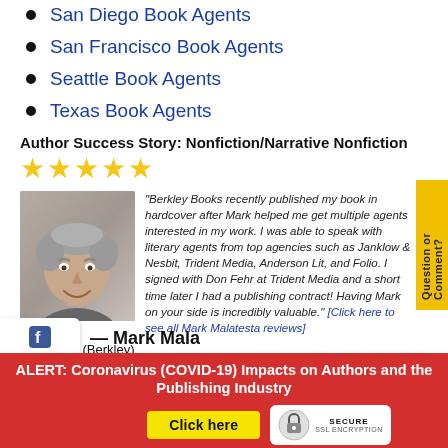San Diego Book Agents
San Francisco Book Agents
Seattle Book Agents
Texas Book Agents
Author Success Story: Nonfiction/Narrative Nonfiction
[Figure (illustration): Five yellow star rating icons]
[Figure (photo): Headshot of older man with grey curly hair, smiling]
"Berkley Books recently published my book in hardcover after Mark helped me get multiple agents interested in my work. I was able to speak with literary agents from top agencies such as Janklow & Nesbit, Trident Media, Anderson Lit, and Folio. I signed with Don Fehr at Trident Media and a short time later I had a publishing contract! Having Mark on your side is incredibly valuable." [Click here to see all Mark Malatesta reviews]
iel Cohen (Berkley)
ALERT: Coronavirus (COVID-19) Impacts on Authors and the Publishing Industry
Click here